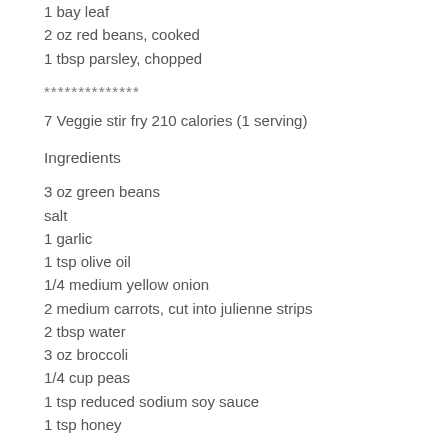1 bay leaf
2 oz red beans, cooked
1 tbsp parsley, chopped
**************
7 Veggie stir fry 210 calories (1 serving)
Ingredients
3 oz green beans
salt
1 garlic
1 tsp olive oil
1/4 medium yellow onion
2 medium carrots, cut into julienne strips
2 tbsp water
3 oz broccoli
1/4 cup peas
1 tsp reduced sodium soy sauce
1 tsp honey